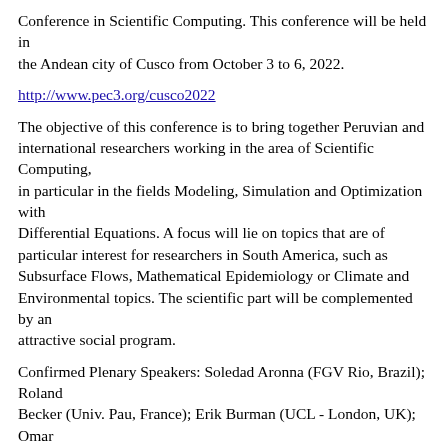Conference in Scientific Computing. This conference will be held in the Andean city of Cusco from October 3 to 6, 2022.
http://www.pec3.org/cusco2022
The objective of this conference is to bring together Peruvian and international researchers working in the area of Scientific Computing, in particular in the fields Modeling, Simulation and Optimization with Differential Equations. A focus will lie on topics that are of particular interest for researchers in South America, such as Subsurface Flows, Mathematical Epidemiology or Climate and Environmental topics. The scientific part will be complemented by an attractive social program.
Confirmed Plenary Speakers: Soledad Aronna (FGV Rio, Brazil); Roland Becker (Univ. Pau, France); Erik Burman (UCL - London, UK); Omar Ghattas (Univ. of Texas at Austin, USA); Roxana Lopez-Cruz (UNMSM, ULIMA Lima, Peru); Insa Neuweiler (Univ. of Hannover,